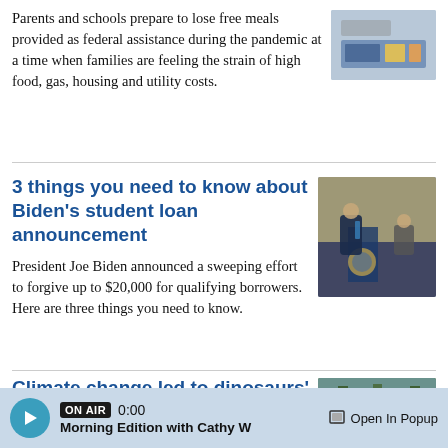Parents and schools prepare to lose free meals provided as federal assistance during the pandemic at a time when families are feeling the strain of high food, gas, housing and utility costs.
[Figure (photo): School lunch tray with food items on a blue tray]
3 things you need to know about Biden's student loan announcement
[Figure (photo): President Joe Biden at a podium with the Presidential seal, another official standing nearby]
President Joe Biden announced a sweeping effort to forgive up to $20,000 for qualifying borrowers. Here are three things you need to know.
Climate change led to dinosaurs'
...
[Figure (photo): Lush green forest landscape]
ON AIR 0:00 Morning Edition with Cathy W  Open In Popup